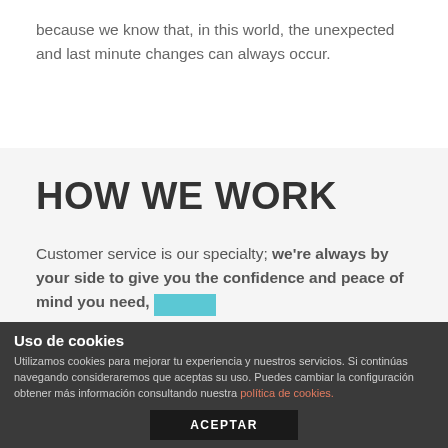because we know that, in this world, the unexpected and last minute changes can always occur.
HOW WE WORK
Customer service is our specialty; we're always by your side to give you the confidence and peace of mind you need,
Uso de cookies
Utilizamos cookies para mejorar tu experiencia y nuestros servicios. Si continúas navegando consideraremos que aceptas su uso. Puedes cambiar la configuración obtener más información consultando nuestra política de cookies.
ACEPTAR